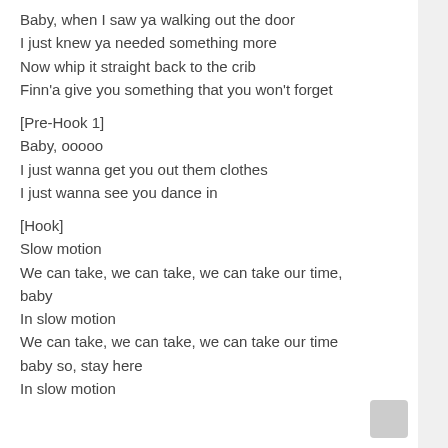Baby, when I saw ya walking out the door
I just knew ya needed something more
Now whip it straight back to the crib
Finn'a give you something that you won't forget
[Pre-Hook 1]
Baby, ooooo
I just wanna get you out them clothes
I just wanna see you dance in
[Hook]
Slow motion
We can take, we can take, we can take our time, baby
In slow motion
We can take, we can take, we can take our time
baby so, stay here
In slow motion